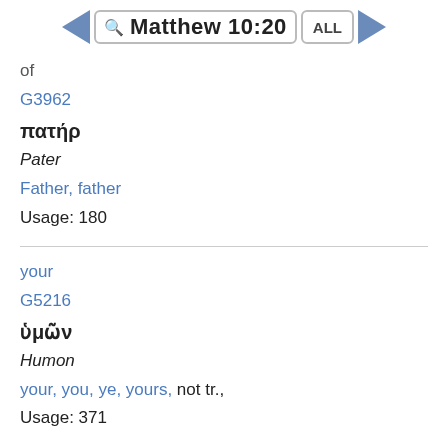Matthew 10:20
of
G3962
πατήρ
Pater
Father, father
Usage: 180
your
G5216
ὑμῶν
Humon
your, you, ye, yours, not tr.,
Usage: 371